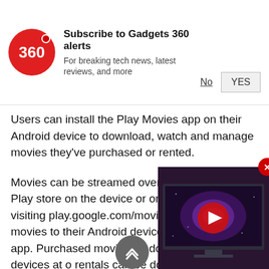[Figure (logo): Gadgets 360 notification banner with circular red logo showing '360', bold title 'Subscribe to Gadgets 360 alerts', subtitle 'For breaking tech news, latest reviews, and more', and two buttons: 'No' (underlined) and 'YES' (in a box)]
Users can install the Play Movies app on their Android device to download, watch and manage movies they've purchased or rented.
Movies can be streamed over Wifi or 3G via the Play store on the device or on a computer by visiting play.google.com/movies. Users can movies to their Android device for of Play Movies app. Purchased movies be downloaded on five devices at o rentals can be downloaded to one device at a time, and when downloaded, streaming of the movie rental will be disabled on the user's computer and any other devices.
[Figure (screenshot): A thumbnail of a TV showing a galaxy/space image with a red play button overlay in the center]
[Figure (other): Gray circular scroll-up button with chevron arrow]